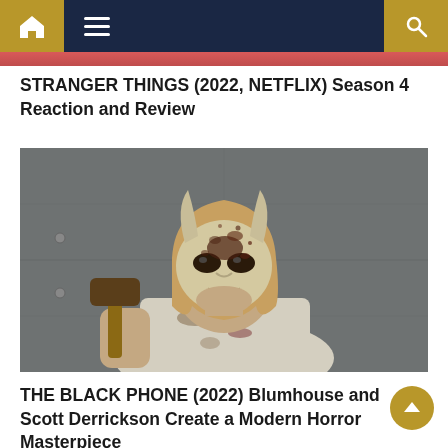Navigation bar with home, menu, and search icons
STRANGER THINGS (2022, NETFLIX) Season 4 Reaction and Review
[Figure (photo): A person wearing a skull-like horned mask with blood splatters, holding a hammer, dressed in a dirty white shirt — still from The Black Phone (2022)]
THE BLACK PHONE (2022) Blumhouse and Scott Derrickson Create a Modern Horror Masterpiece